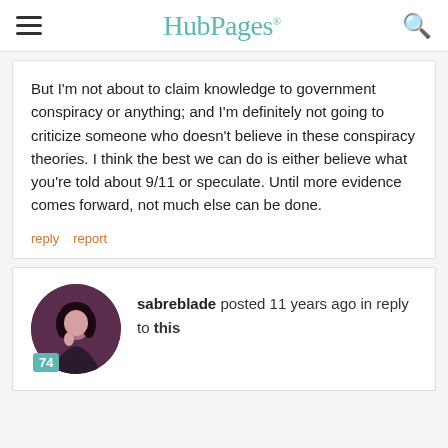HubPages
But I'm not about to claim knowledge to government conspiracy or anything; and I'm definitely not going to criticize someone who doesn't believe in these conspiracy theories. I think the best we can do is either believe what you're told about 9/11 or speculate. Until more evidence comes forward, not much else can be done.
reply   report
sabreblade posted 11 years ago in reply to this